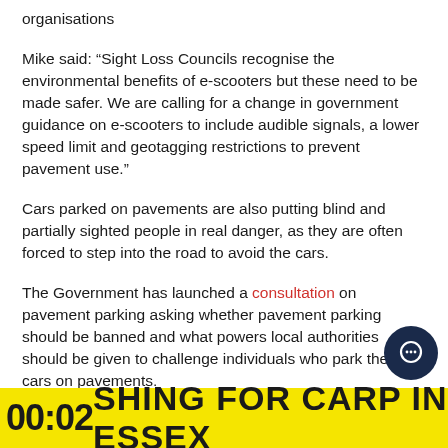organisations
Mike said: “Sight Loss Councils recognise the environmental benefits of e-scooters but these need to be made safer. We are calling for a change in government guidance on e-scooters to include audible signals, a lower speed limit and geotagging restrictions to prevent pavement use.”
Cars parked on pavements are also putting blind and partially sighted people in real danger, as they are often forced to step into the road to avoid the cars.
The Government has launched a consultation on pavement parking asking whether pavement parking should be banned and what powers local authorities should be given to challenge individuals who park their cars on pavements.
Mike said: “After years of lobbying by a number of
00:02 SHING FOR CARP IN ESSEX